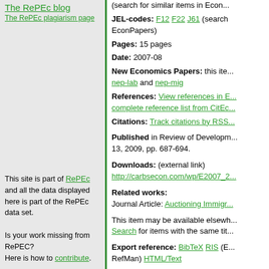The RePEc blog
The RePEc plagiarism page
JEL-codes: F12 F22 J61 (search EconPapers)
Pages: 15 pages
Date: 2007-08
New Economics Papers: this item is announced in nep-lab and nep-mig
References: View references in EconPapers complete reference list from CitEc
Citations: Track citations by RSS
Published in Review of Development... 13, 2009, pp. 687-694.
Downloads: (external link)
http://carbsecon.com/wp/E2007_2...
Related works:
Journal Article: Auctioning Immigr...
This item may be available elsewh... Search for items with the same tit...
Export reference: BibTeX RIS (E... RefMan) HTML/Text
Persistent link:
https://EconPapers.repec.org/ReP...
This site is part of RePEc and all the data displayed here is part of the RePec data set.

Is your work missing from RePEC? Here is how to contribute.